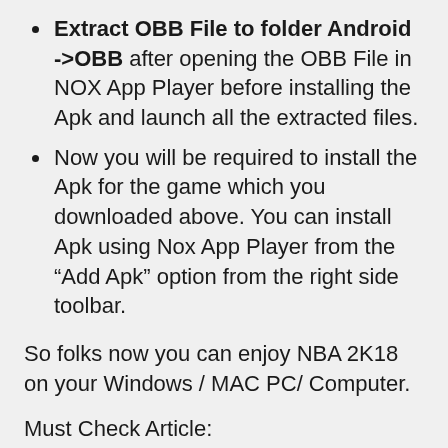Extract OBB File to folder Android ->OBB after opening the OBB File in NOX App Player before installing the Apk and launch all the extracted files.
Now you will be required to install the Apk for the game which you downloaded above. You can install Apk using Nox App Player from the "Add Apk" option from the right side toolbar.
So folks now you can enjoy NBA 2K18 on your Windows / MAC PC/ Computer.
Must Check Article:
BBM for PC | Download BBM on Windows 10/8/8.1/XP/7/Mac